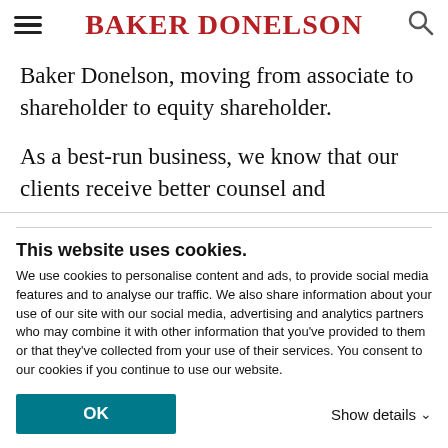BAKER DONELSON
Baker Donelson, moving from associate to shareholder to equity shareholder.
As a best-run business, we know that our clients receive better counsel and innovative solutions to complex problems from diverse teams. The Baker Donelson D&I Compact is about more than benchmarks, numbers, and our own financial success. It is about building a
This website uses cookies.
We use cookies to personalise content and ads, to provide social media features and to analyse our traffic. We also share information about your use of our site with our social media, advertising and analytics partners who may combine it with other information that you've provided to them or that they've collected from your use of their services. You consent to our cookies if you continue to use our website.